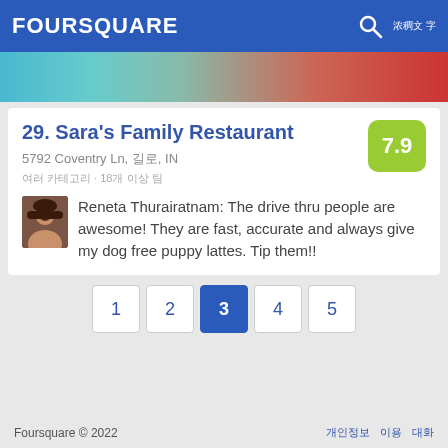FOURSQUARE
[Figure (photo): Banner image showing people in colorful clothing]
29. Sara's Family Restaurant
5792 Coventry Ln, 길로, IN
여러 카테고리 · 18개 이상 팀
Reneta Thurairatnam: The drive thru people are awesome! They are fast, accurate and always give my dog free puppy lattes. Tip them!!
1 2 3 4 5
Foursquare © 2022